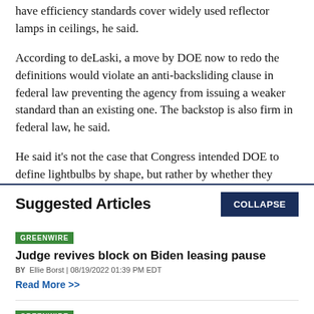have efficiency standards cover widely used reflector lamps in ceilings, he said.
According to deLaski, a move by DOE now to redo the definitions would violate an anti-backsliding clause in federal law preventing the agency from issuing a weaker standard than an existing one. The backstop is also firm in federal law, he said.
He said it’s not the case that Congress intended DOE to define lightbulbs by shape, but rather by whether they
Suggested Articles
GREENWIRE
Judge revives block on Biden leasing pause
BY Ellie Borst | 08/19/2022 01:39 PM EDT
Read More >>
GREENWIRE
Breakthrough research could destroy ‘forever chemicals’